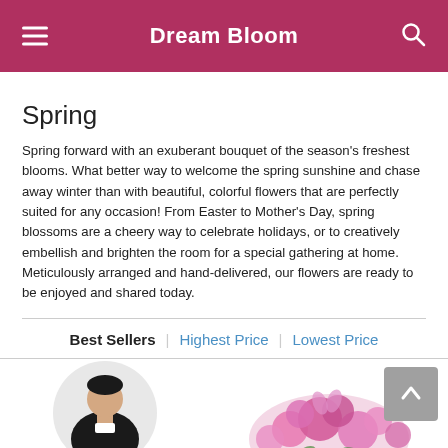Dream Bloom
Spring
Spring forward with an exuberant bouquet of the season's freshest blooms. What better way to welcome the spring sunshine and chase away winter than with beautiful, colorful flowers that are perfectly suited for any occasion! From Easter to Mother's Day, spring blossoms are a cheery way to celebrate holidays, or to creatively embellish and brighten the room for a special gathering at home. Meticulously arranged and hand-delivered, our flowers are ready to be enjoyed and shared today.
Best Sellers | Highest Price | Lowest Price
[Figure (photo): Two product thumbnails at the bottom: a person in black clothing (left) and pink flowers (right), partially visible.]